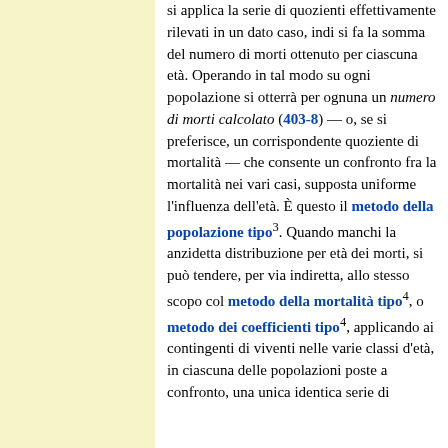si applica la serie di quozienti effettivamente rilevati in un dato caso, indi si fa la somma del numero di morti ottenuto per ciascuna età. Operando in tal modo su ogni popolazione si otterrà per ognuna un numero di morti calcolato (403-8) — o, se si preferisce, un corrispondente quoziente di mortalità — che consente un confronto fra la mortalità nei vari casi, supposta uniforme l'influenza dell'età. È questo il metodo della popolazione tipo³. Quando manchi la anzidetta distribuzione per età dei morti, si può tendere, per via indiretta, allo stesso scopo col metodo della mortalità tipo⁴, o metodo dei coefficienti tipo⁴, applicando ai contingenti di viventi nelle varie classi d'età, in ciascuna delle popolazioni poste a confronto, una unica identica serie di quozienti della mortalità⁶